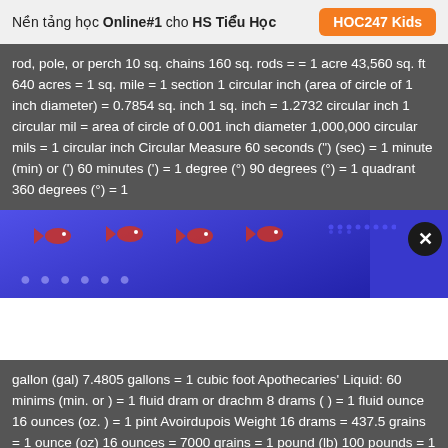Nền tảng học Online#1 cho HS Tiểu Học   HOC247 Kids
rod, pole, or perch 10 sq. chains 160 sq. rods = = 1 acre 43,560 sq. ft 640 acres = 1 sq. mile = 1 section 1 circular inch (area of circle of 1 inch diameter) = 0.7854 sq. inch 1 sq. inch = 1.2732 circular inch 1 circular mil = area of circle of 0.001 inch diameter 1,000,000 circular mils = 1 circular inch Circular Measure 60 seconds (") (sec) = 1 minute (min) or (') 60 minutes (') = 1 degree (°) 90 degrees (°) = 1 quadrant 360 degrees (°) = 1
[Figure (screenshot): Blue banner/advertisement overlay with decorative fish icons and a close (X) button on the right side]
gallon (gal) 7.4805 gallons = 1 cubic foot Apothecaries' Liquid: 60 minims (min. or ) = 1 fluid dram or drachm 8 drams ( ) = 1 fluid ounce 16 ounces (oz. ) = 1 pint Avoirdupois Weight 16 drams = 437.5 grains = 1 ounce (oz) 16 ounces = 7000 grains = 1 pound (lb) 100 pounds = 1 hundredweight (cwt) 2000 pounds = 1 short ton; 2240 pounds = 1 long ton Troy Weight 24 grains = 1 pennyweight (dwt) 20 pennyweights = 1 ounce (oz) 12 ounces = 1 pound (lb) Apothecaries' Weight 20 grains (gr) = 1 scruple ( ) 3 scruples = 1 dram ( ) 8 drams = 1 ounce ( ) 12 ounces = 1 pound (lb) 1-19